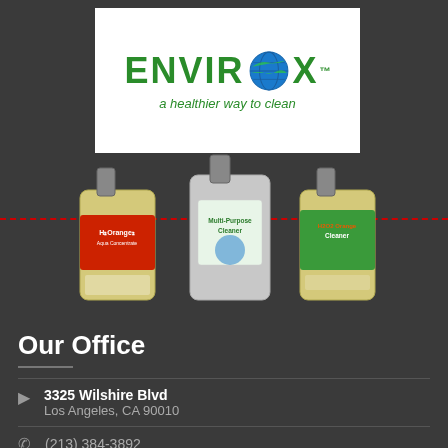[Figure (logo): Envirox logo with globe icon and tagline 'a healthier way to clean' on white background]
[Figure (photo): Three jugs of Envirox cleaning products: H2Orange2 (red label), Multi-Purpose Cleaner (center), and H2O2 Orange Cleaner (green label), all with yellow liquid visible]
Our Office
3325 Wilshire Blvd
Los Angeles, CA 90010
(213) 384-3892